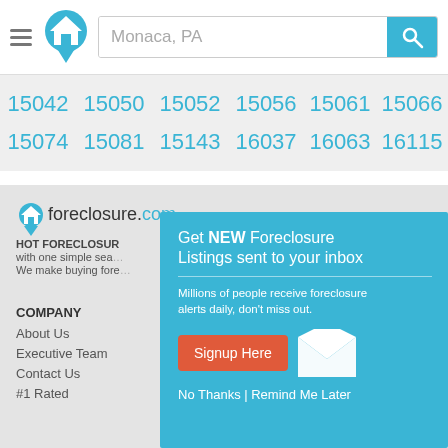[Figure (screenshot): Website header with hamburger menu, house logo icon, search bar with 'Monaca, PA' placeholder, and teal search button]
15042
15050
15052
15056
15061
15066
15074
15081
15143
16037
16063
16115
foreclosure.com HOT FORECLOSURE with one simple search We make buying fore
COMPANY
About Us
Executive Team
Contact Us
#1 Rated
[Figure (infographic): Popup modal: 'Get NEW Foreclosure Listings sent to your inbox' with subtitle 'Millions of people receive foreclosure alerts daily, don't miss out.' and Signup Here button, envelope icon, and No Thanks | Remind Me Later links]
FAQs
Glossary
Foreclosure Laws